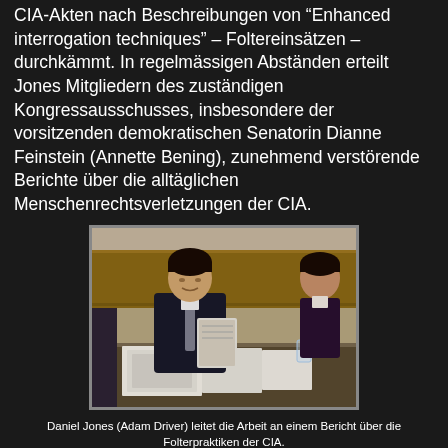CIA-Akten nach Beschreibungen von "Enhanced interrogation techniques" – Foltereinsätzen – durchkämmt. In regelmässigen Abständen erteilt Jones Mitgliedern des zuständigen Kongressausschusses, insbesondere der vorsitzenden demokratischen Senatorin Dianne Feinstein (Annette Bening), zunehmend verstörende Berichte über die alltäglichen Menschenrechtsverletzungen der CIA.
[Figure (photo): A man in a dark suit (Daniel Jones, played by Adam Driver) sitting at a conference table holding documents/photos. A woman is visible in the background. Office/committee room setting.]
Daniel Jones (Adam Driver) leitet die Arbeit an einem Bericht über die Folterpraktiken der CIA.
© Ascot Elite Entertainment Group
The Report ist ein journalistisches Drama von radikaler Nüchternheit, das zu jedem Zeitpunkt die Materie über das Einzelschicksal stellt. Was die Figuren charakterlich